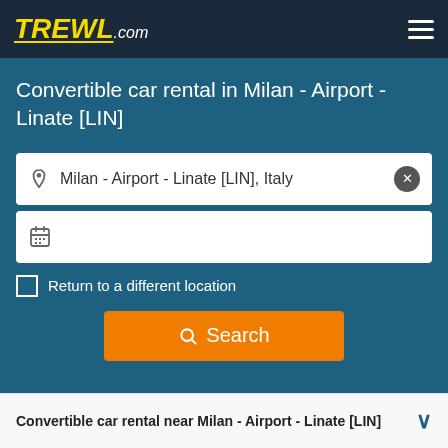TREWL.com
Convertible car rental in Milan - Airport - Linate [LIN]
Milan - Airport - Linate [LIN], Italy
Return to a different location
Search
Convertible car rental near Milan - Airport - Linate [LIN]